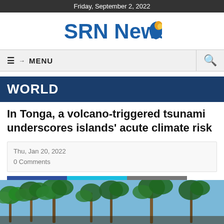Friday, September 2, 2022
[Figure (logo): SRN News logo with blue text and globe icon]
☰ MENU
WORLD
In Tonga, a volcano-triggered tsunami underscores islands' acute climate risk
Thu, Jan 20, 2022
0 Comments
[Figure (infographic): Social share buttons: Facebook, Twitter, Print]
[Figure (photo): Tropical island scene with palm trees against a blue sky]